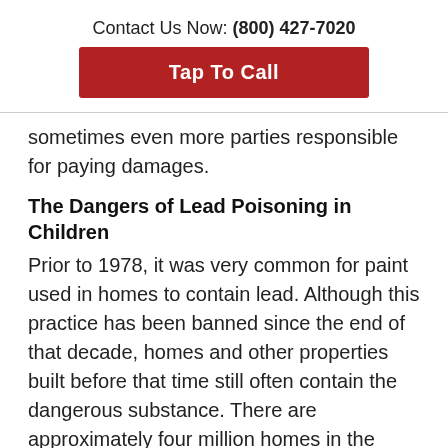Contact Us Now: (800) 427-7020
Tap To Call
sometimes even more parties responsible for paying damages.
The Dangers of Lead Poisoning in Children
Prior to 1978, it was very common for paint used in homes to contain lead. Although this practice has been banned since the end of that decade, homes and other properties built before that time still often contain the dangerous substance. There are approximately four million homes in the country that currently have children living in them that are being exposed to lead on a daily basis, according to the Centers for Disease Control and